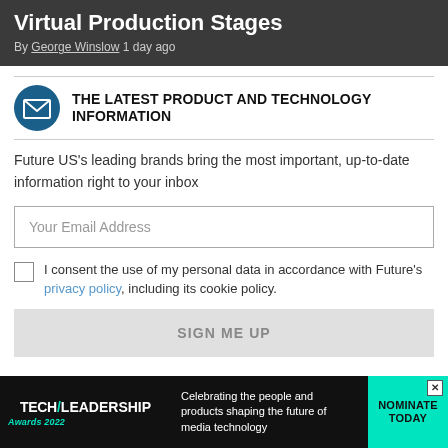Virtual Production Stages
By George Winslow 1 day ago
[Figure (infographic): Email newsletter signup box with envelope icon and header 'THE LATEST PRODUCT AND TECHNOLOGY INFORMATION']
Future US's leading brands bring the most important, up-to-date information right to your inbox
Your Email Address
I consent the use of my personal data in accordance with Future's privacy policy, including its cookie policy.
SIGN ME UP
[Figure (infographic): Tech/Leadership Awards 2022 advertisement banner: 'Celebrating the people and products shaping the future of media technology' with 'NOMINATE TODAY' button]